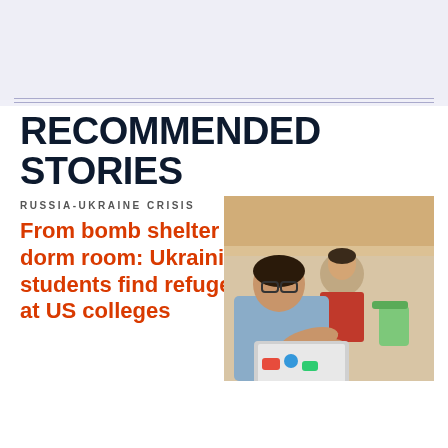RECOMMENDED STORIES
RUSSIA-UKRAINE CRISIS
From bomb shelter to dorm room: Ukrainian students find refuge at US colleges
[Figure (photo): Two students working on laptops in what appears to be a university common area or hallway. The foreground student wears a light blue shirt and glasses, typing on a laptop covered with stickers. A second student in a red shirt sits in the background.]